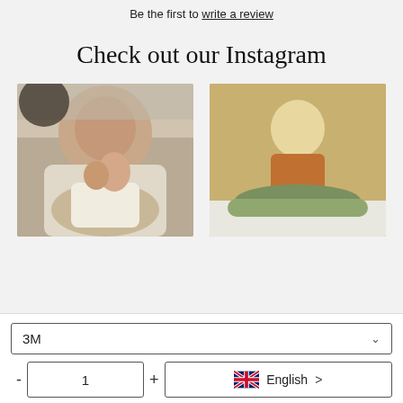Be the first to write a review
Check out our Instagram
[Figure (photo): A smiling baby/toddler being held, wearing a white top with light beige pants, on a light background]
[Figure (photo): A young blonde toddler in a mustard yellow shirt and dark shorts sitting cross-legged on a green pillow/cushion against a tan/beige studio background]
3M
1
English